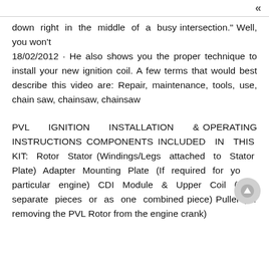«
down right in the middle of a busy intersection." Well, you won't
18/02/2012 · He also shows you the proper technique to install your new ignition coil. A few terms that would best describe this video are: Repair, maintenance, tools, use, chain saw, chainsaw, chainsaw
PVL IGNITION INSTALLATION & OPERATING INSTRUCTIONS COMPONENTS INCLUDED IN THIS KIT: Rotor Stator (Windings/Legs attached to Stator Plate) Adapter Mounting Plate (If required for your particular engine) CDI Module & Upper Coil (Two separate pieces or as one combined piece) Puller (for removing the PVL Rotor from the engine crank)